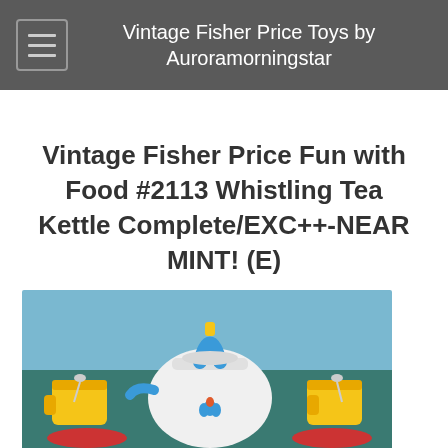Vintage Fisher Price Toys by Auroramorningstar
Vintage Fisher Price Fun with Food #2113 Whistling Tea Kettle Complete/EXC++-NEAR MINT! (E)
[Figure (photo): Photo of vintage Fisher Price Fun with Food #2113 Whistling Tea Kettle set, showing a white kettle with blue handle and tulip logo, surrounded by yellow cups with spoons, on a teal surface with blue background.]